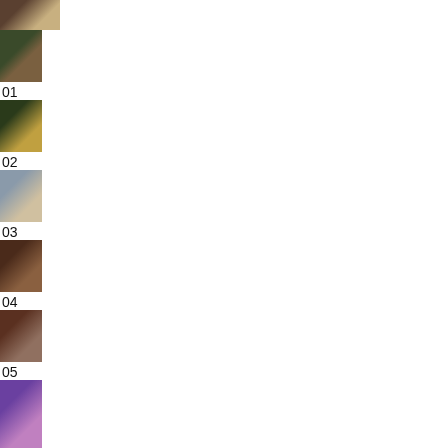[Figure (photo): Partial top photo, person at piano or desk, indoor scene]
[Figure (photo): Person sitting outdoors, greenery background]
01
[Figure (photo): Person under tree, warm backlit outdoor scene]
02
[Figure (photo): Person in light shirt, arms crossed, outdoor]
03
[Figure (photo): Person with dark hair, close-up outdoor scene]
04
[Figure (photo): Outdoor scene with dirt/ground, reddish tones]
05
[Figure (photo): Person in costume or dark outfit, partial view at bottom]